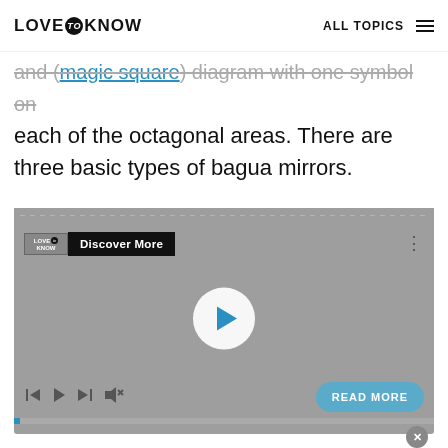LOVE to KNOW   ALL TOPICS
and (magic square) diagram with one symbol on each of the octagonal areas. There are three basic types of bagua mirrors.
[Figure (screenshot): Embedded video player with LoveToKnow logo, 'Discover More' label, play button, media controls, 'READ MORE' button, and progress bar. Background is grey.]